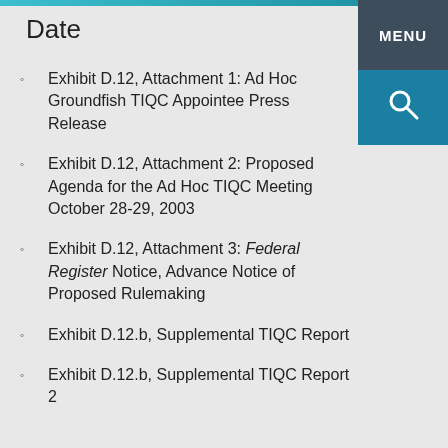Date
Exhibit D.12, Attachment 1: Ad Hoc Groundfish TIQC Appointee Press Release
Exhibit D.12, Attachment 2: Proposed Agenda for the Ad Hoc TIQC Meeting October 28-29, 2003
Exhibit D.12, Attachment 3: Federal Register Notice, Advance Notice of Proposed Rulemaking
Exhibit D.12.b, Supplemental TIQC Report
Exhibit D.12.b, Supplemental TIQC Report 2